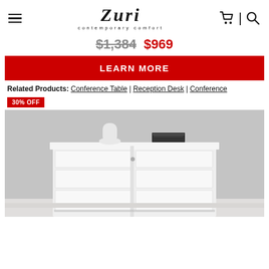Zuri contemporary comfort
$1,384  $969
LEARN MORE
Related Products: Conference Table | Reception Desk | Conference
30% OFF
[Figure (photo): White modern filing cabinet with multiple drawers and a lock, displayed on a light floor against a gray wall, with a white vase and books on top.]